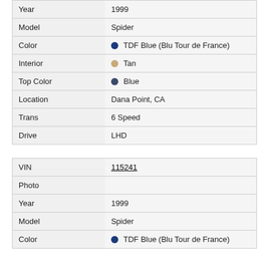| Field | Value |
| --- | --- |
| Year | 1999 |
| Model | Spider |
| Color | TDF Blue (Blu Tour de France) |
| Interior | Tan |
| Top Color | Blue |
| Location | Dana Point, CA |
| Trans | 6 Speed |
| Drive | LHD |
| Field | Value |
| --- | --- |
| VIN | 115241 |
| Photo |  |
| Year | 1999 |
| Model | Spider |
| Color | TDF Blue (Blu Tour de France) |